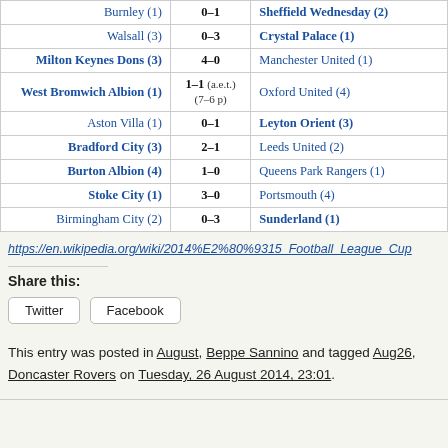| Home | Score | Away |
| --- | --- | --- |
| Burnley (1) | 0–1 | Sheffield Wednesday (2) |
| Walsall (3) | 0–3 | Crystal Palace (1) |
| Milton Keynes Dons (3) | 4–0 | Manchester United (1) |
| West Bromwich Albion (1) | 1–1 (a.e.t.) (7–6 p) | Oxford United (4) |
| Aston Villa (1) | 0–1 | Leyton Orient (3) |
| Bradford City (3) | 2–1 | Leeds United (2) |
| Burton Albion (4) | 1–0 | Queens Park Rangers (1) |
| Stoke City (1) | 3–0 | Portsmouth (4) |
| Birmingham City (2) | 0–3 | Sunderland (1) |
https://en.wikipedia.org/wiki/2014%E2%80%9315_Football_League_Cup
Share this:
Twitter   Facebook
This entry was posted in August, Beppe Sannino and tagged Aug26, Doncaster Rovers on Tuesday, 26 August 2014, 23:01.